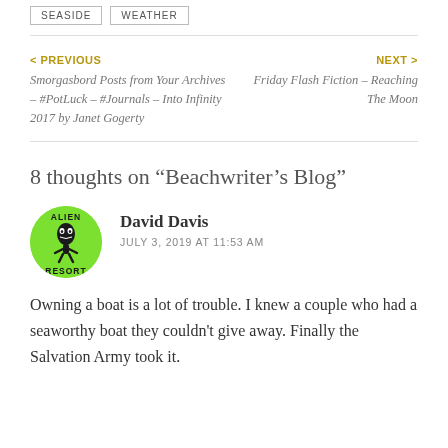SEASIDE
WEATHER
< PREVIOUS
Smorgasbord Posts from Your Archives – #PotLuck – #Journals – Into Infinity 2017 by Janet Gogerty
NEXT >
Friday Flash Fiction – Reaching The Moon
8 thoughts on “Beachwriter’s Blog”
David Davis
JULY 3, 2019 AT 11:53 AM
[Figure (illustration): Circular green avatar logo for Alien Resort, showing a cartoon alien figure with text ALIEN at top and RESORT at bottom]
Owning a boat is a lot of trouble. I knew a couple who had a seaworthy boat they couldn’t give away. Finally the Salvation Army took it.